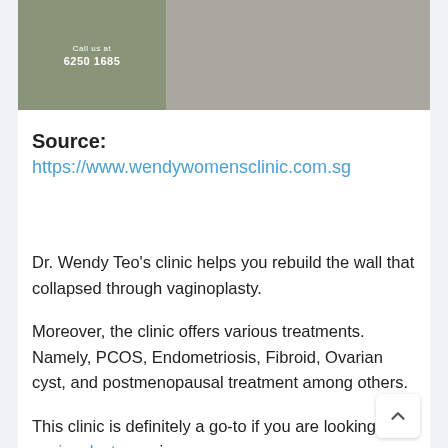[Figure (photo): Clinic photo with phone number 6250 1685 on left panel and person holding document on right panel]
Source:
https://www.wendywomensclinic.com.sg
Dr. Wendy Teo’s clinic helps you rebuild the wall that collapsed through vaginoplasty.
Moreover, the clinic offers various treatments. Namely, PCOS, Endometriosis, Fibroid, Ovarian cyst, and postmenopausal treatment among others.
This clinic is definitely a go-to if you are looking for a vaginoplasty service.